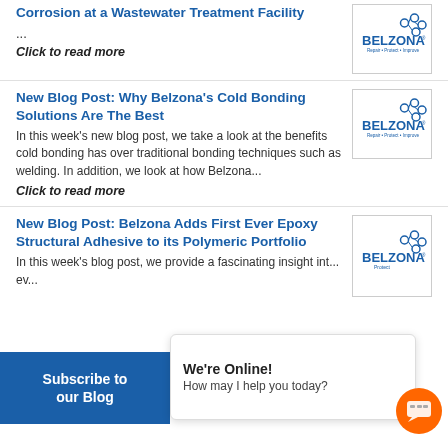Corrosion at a Wastewater Treatment Facility
...
Click to read more
[Figure (logo): Belzona logo - Repair • Protect • Improve]
New Blog Post: Why Belzona's Cold Bonding Solutions Are The Best
In this week's new blog post, we take a look at the benefits cold bonding has over traditional bonding techniques such as welding. In addition, we look at how Belzona...
Click to read more
[Figure (logo): Belzona logo - Repair • Protect • Improve]
New Blog Post: Belzona Adds First Ever Epoxy Structural Adhesive to its Polymeric Portfolio
In this week's blog post, we provide a fascinating insight int... ev...
[Figure (logo): Belzona logo - Protect]
Subscribe to our Blog
We're Online! How may I help you today?